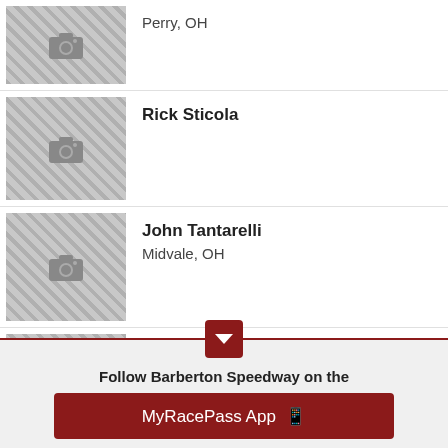Perry, OH
Rick Sticola
John Tantarelli — Midvale, OH
Scott Thayer
Follow Barberton Speedway on the
MyRacePass App